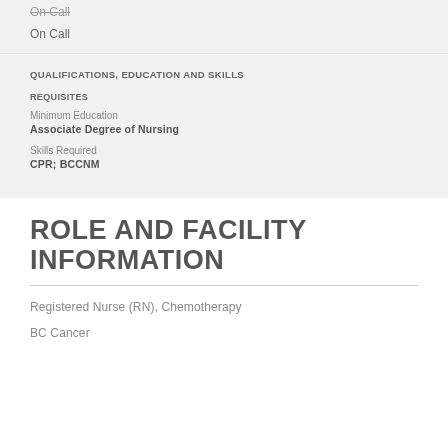On Call
On Call
QUALIFICATIONS, EDUCATION AND SKILLS
REQUISITES
Minimum Education
Associate Degree of Nursing
Skills Required
CPR; BCCNM
ROLE AND FACILITY INFORMATION
Registered Nurse (RN), Chemotherapy
BC Cancer